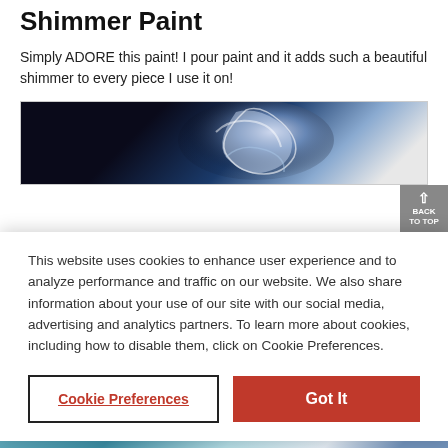Shimmer Paint
Simply ADORE this paint! I pour paint and it adds such a beautiful shimmer to every piece I use it on!
[Figure (photo): Abstract pour painting with dark blue and white shimmer paint splash on black background]
This website uses cookies to enhance user experience and to analyze performance and traffic on our website. We also share information about your use of our site with our social media, advertising and analytics partners. To learn more about cookies, including how to disable them, click on Cookie Preferences.
Cookie Preferences
Got It
[Figure (photo): Fluid pour painting with teal, blue and white colors visible at bottom of page]